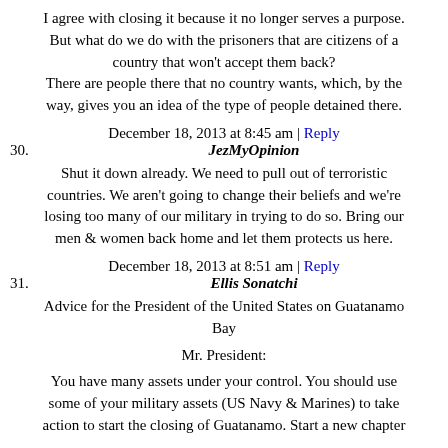I agree with closing it because it no longer serves a purpose. But what do we do with the prisoners that are citizens of a country that won't accept them back? There are people there that no country wants, which, by the way, gives you an idea of the type of people detained there.
December 18, 2013 at 8:45 am | Reply
30. JezMyOpinion
Shut it down already. We need to pull out of terroristic countries. We aren't going to change their beliefs and we're losing too many of our military in trying to do so. Bring our men & women back home and let them protects us here.
December 18, 2013 at 8:51 am | Reply
31. Ellis Sonatchi
Advice for the President of the United States on Guatanamo Bay
Mr. President:
You have many assets under your control. You should use some of your military assets (US Navy & Marines) to take action to start the closing of Guatanamo. Start a new chapter